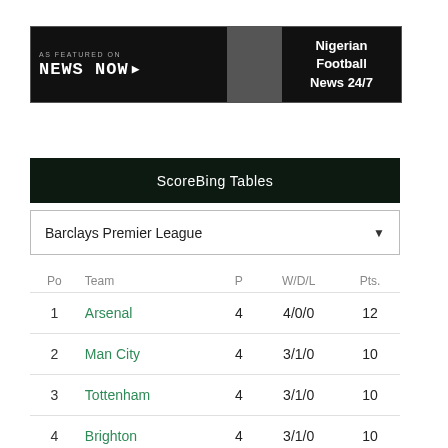[Figure (logo): News Now banner - 'As Featured On News Now' with 'Nigerian Football News 24/7' text on dark background]
ScoreBing Tables
Barclays Premier League
| Po | Team | P | W/D/L | Pts. |
| --- | --- | --- | --- | --- |
| 1 | Arsenal | 4 | 4/0/0 | 12 |
| 2 | Man City | 4 | 3/1/0 | 10 |
| 3 | Tottenham | 4 | 3/1/0 | 10 |
| 4 | Brighton | 4 | 3/1/0 | 10 |
| 5 | Leeds | 4 | 2/1/1 | 7 |
| 6 | Chelsea | 4 | 2/1/1 | 7 |